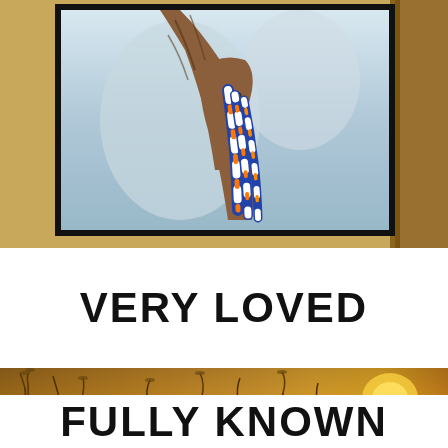[Figure (photo): A tattooed hand holding a blue, white, and orange braided rope or toy, with a blurred outdoor background. The photo is framed with a thick black border on a warm golden/tan background.]
VERY LOVED
[Figure (photo): Blurred outdoor scene with tall grass or wheat silhouettes in warm golden sunset light.]
FULLY KNOWN